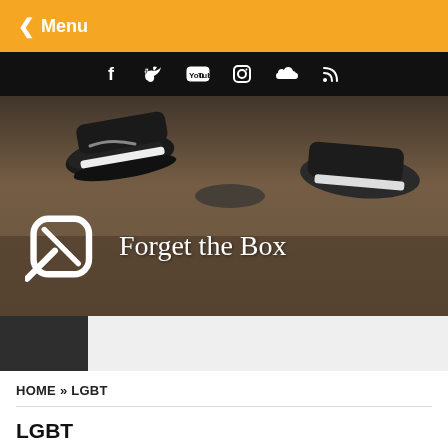< Menu
[Figure (screenshot): Social media icons bar: Facebook, Twitter, YouTube, Instagram, SoundCloud, RSS on black background]
[Figure (photo): Hero image: street-level photo of people's feet and sneakers on pavement, with Forget the Box logo (circle with slash) and text 'Forget the Box' overlaid in white]
HOME » LGBT
LGBT